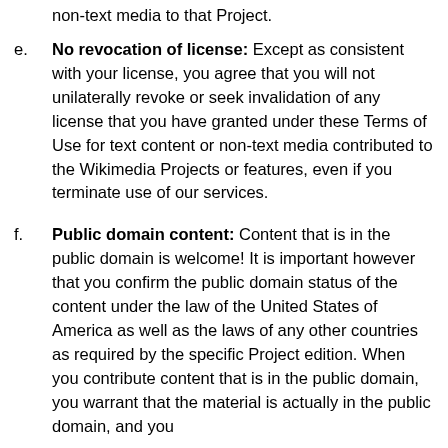non-text media to that Project.
e. No revocation of license: Except as consistent with your license, you agree that you will not unilaterally revoke or seek invalidation of any license that you have granted under these Terms of Use for text content or non-text media contributed to the Wikimedia Projects or features, even if you terminate use of our services.
f. Public domain content: Content that is in the public domain is welcome! It is important however that you confirm the public domain status of the content under the law of the United States of America as well as the laws of any other countries as required by the specific Project edition. When you contribute content that is in the public domain, you warrant that the material is actually in the public domain, and you